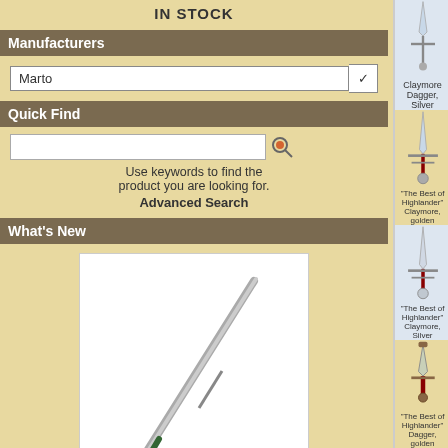IN STOCK
Manufacturers
Marto
Quick Find
Use keywords to find the product you are looking for.
Advanced Search
What's New
[Figure (illustration): Sword illustration - long straight sword]
Sword
Magnificent sword with high quality hand tempered &-nb...
100,00EUR
[Figure (illustration): Claymore Dagger, Silver product image]
Claymore Dagger, Silver
[Figure (illustration): The Best of Highlander Claymore golden sword]
"The Best of Highlander" Claymore, golden
[Figure (illustration): The Best of Highlander Claymore Silver sword]
"The Best of Highlander" Claymore, Silver
[Figure (illustration): The Best of Highlander Dagger golden]
"The Best of Highlander" Dagger, golden
[Figure (illustration): Another Highlander product at bottom]